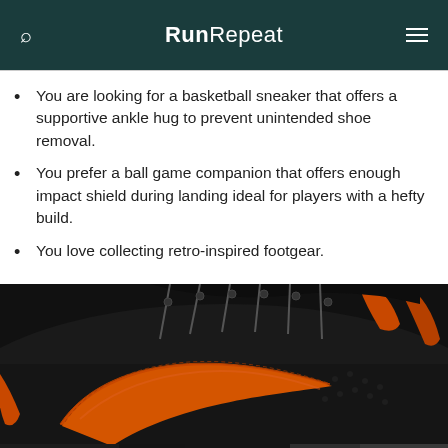RunRepeat
You are looking for a basketball sneaker that offers a supportive ankle hug to prevent unintended shoe removal.
You prefer a ball game companion that offers enough impact shield during landing ideal for players with a hefty build.
You love collecting retro-inspired footgear.
[Figure (photo): Close-up photo of a Nike basketball shoe with black upper and orange swoosh logo, showing textured leather detail and lacing.]
Overview   To top